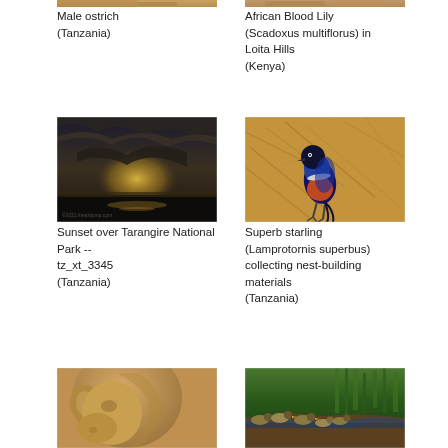[Figure (photo): Male ostrich photo (Tanzania) – partially cropped at top]
Male ostrich (Tanzania)
[Figure (photo): African Blood Lily (Scadoxus multiflorus) in Loita Hills photo (Kenya) – partially cropped at top]
African Blood Lily (Scadoxus multiflorus) in Loita Hills (Kenya)
[Figure (photo): Sunset over Tarangire National Park -- tz_xt_3345 (Tanzania)]
Sunset over Tarangire National Park -- tz_xt_3345 (Tanzania)
[Figure (photo): Superb starling (Lamprotornis superbus) collecting nest-building materials (Tanzania)]
Superb starling (Lamprotornis superbus) collecting nest-building materials (Tanzania)
[Figure (photo): Close-up of a primate/baboon face (Tanzania or Kenya) – partially cropped at bottom]
[Figure (photo): Ducks/waterfowl at waterside with green vegetation – partially cropped at bottom]